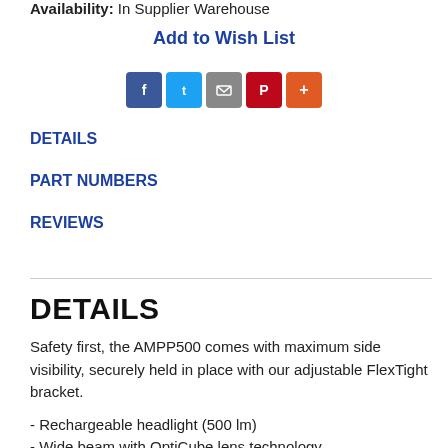Availability: In Supplier Warehouse
Add to Wish List
[Figure (other): Social share icons: Facebook, Twitter, Email, Pinterest, More]
DETAILS
PART NUMBERS
REVIEWS
DETAILS
Safety first, the AMPP500 comes with maximum side visibility, securely held in place with our adjustable FlexTight bracket.
- Rechargeable headlight (500 lm)
- Wide beam with OptiCube lens technology